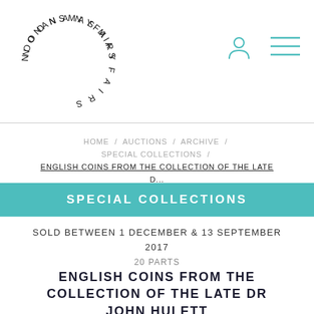[Figure (logo): Noonans Mayfair circular logo with letters arranged in a circle]
[Figure (illustration): User/account icon (person silhouette)]
[Figure (illustration): Hamburger menu icon (three horizontal lines)]
HOME / AUCTIONS / ARCHIVE / SPECIAL COLLECTIONS / ENGLISH COINS FROM THE COLLECTION OF THE LATE D...
SPECIAL COLLECTIONS
SOLD BETWEEN 1 DECEMBER & 13 SEPTEMBER 2017
20 PARTS
ENGLISH COINS FROM THE COLLECTION OF THE LATE DR JOHN HULETT